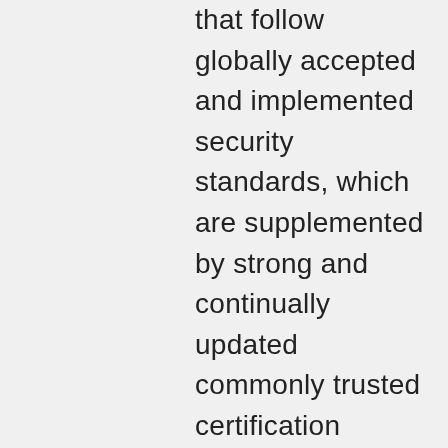that follow globally accepted and implemented security standards, which are supplemented by strong and continually updated commonly trusted certification schemes. IoT is still in its early stages where products do not interoperate easily, and such standards and certifications are missing, but we can learn from markets with high-security standards. Another brick in the wall that's missing is standards that entail the appropriate combination of safety and security. IoT standardization has to learn from Healthcare, Automotive, Industrial, and Critical Infrastructure standards. The trust